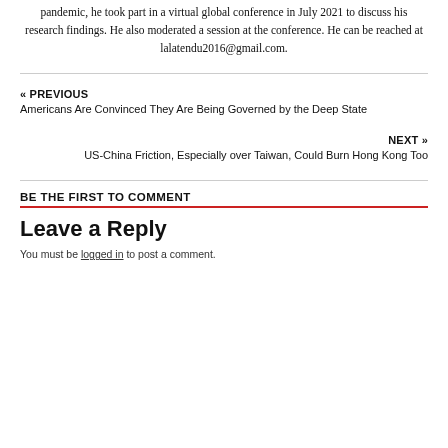pandemic, he took part in a virtual global conference in July 2021 to discuss his research findings. He also moderated a session at the conference. He can be reached at lalatendu2016@gmail.com.
« PREVIOUS
Americans Are Convinced They Are Being Governed by the Deep State
NEXT »
US-China Friction, Especially over Taiwan, Could Burn Hong Kong Too
BE THE FIRST TO COMMENT
Leave a Reply
You must be logged in to post a comment.